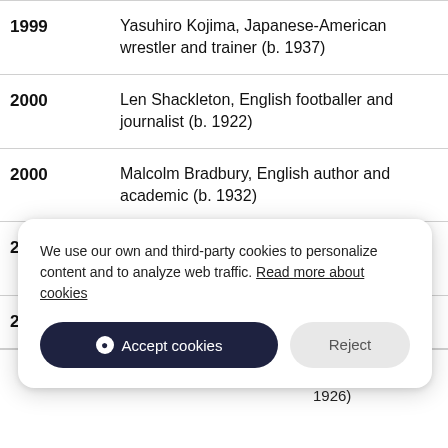| Year | Description |
| --- | --- |
| 1999 | Yasuhiro Kojima, Japanese-American wrestler and trainer (b. 1937) |
| 2000 | Len Shackleton, English footballer and journalist (b. 1922) |
| 2000 | Malcolm Bradbury, English author and academic (b. 1932) |
| 2000 | Uno Prii, Estonian-Canadian architect (b. 1924) |
| 2002 | Billie Bird, American actress (b. 1908) |
| (partial) | r (b. 1926) |
We use our own and third-party cookies to personalize content and to analyze web traffic. Read more about cookies